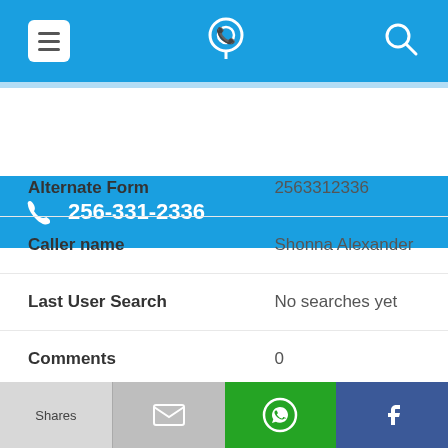[Figure (screenshot): Top navigation bar with hamburger menu icon, phone/location app icon in center, and search icon on right, all on blue background]
256-331-2336
| Field | Value |
| --- | --- |
| Alternate Form | 2563312336 |
| Caller name | Shonna Alexander |
| Last User Search | No searches yet |
| Comments | 0 |
256-331-2559
[Figure (screenshot): Bottom share bar with Shares (grey), mail envelope (dark grey), WhatsApp (green), and Facebook (dark blue) buttons]